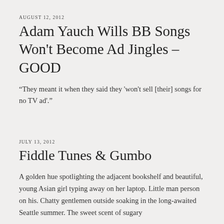AUGUST 12, 2012
Adam Yauch Wills BB Songs Won't Become Ad Jingles – GOOD
"They meant it when they said they 'won't sell [their] songs for no TV ad'."
JULY 13, 2012
Fiddle Tunes & Gumbo
A golden hue spotlighting the adjacent bookshelf and beautiful, young Asian girl typing away on her laptop. Little man person on his. Chatty gentlemen outside soaking in the long-awaited Seattle summer. The sweet scent of sugary